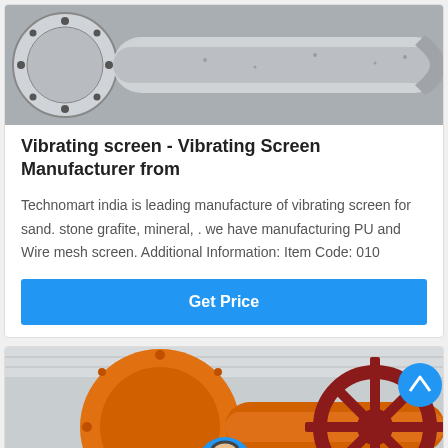[Figure (photo): Close-up of industrial vibrating screen machinery, grey metal with bolted flanges and cylindrical drum]
Vibrating screen - Vibrating Screen Manufacturer from
Technomart india is leading manufacture of vibrating screen for sand. stone grafite, mineral, . we have manufacturing PU and Wire mesh screen. Additional Information: Item Code: 010
Get Price
[Figure (photo): Industrial machinery with large orange cylindrical drum and red gear wheel inside a warehouse]
Leave Message
Chat Online